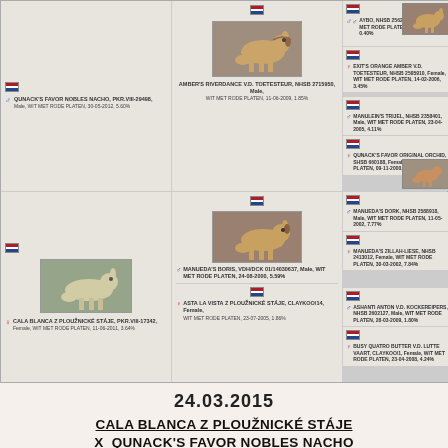[Figure (other): Pedigree chart showing dog lineage with 6 cells in a 3-column grid layout. Left column: top cell with male dog QUNACK'S FAVOR NOBLES NACHO, bottom cell with female dog CALA BLANCA Z PLOUŽNICKÉ STÁJE with photo. Middle column: top cell with AMBER'S RIVERDANCE V.D. TOETESTEUR with photo, bottom cell with MANUEDA'S BORIS with photo and ASTA LA VISTA. Right column shows 6 sub-cells with ancestor dogs.]
24.03.2015
CALA BLANCA Z PLOUŽNICKÉ STÁJE X  QUNACK'S FAVOR NOBLES NACHO